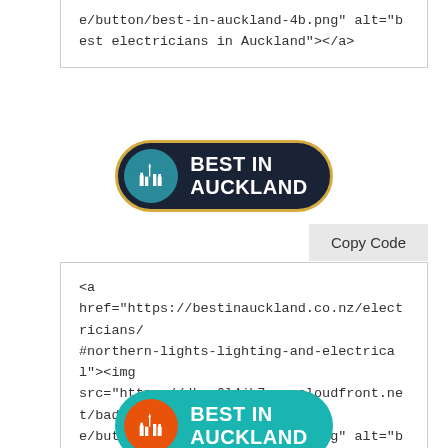e/button/best-in-auckland-4b.png" alt="best electricians in Auckland"></a>
[Figure (logo): Best In Auckland badge with dark navy background and teal circle icon showing city skyline]
Copy Code
<a href="https://bestinauckland.co.nz/electricians/#northern-lights-lighting-and-electrical"><img src="https://dkys6l4jh7xyn.cloudfront.net/badge/button/best-in-auckland-3b.png" alt="best electricians in Auckland"></a>
[Figure (logo): Best In Auckland badge with teal background and orange circle icon showing city skyline]